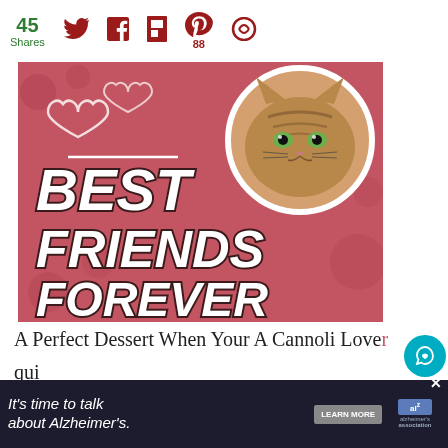45 Shares
[Figure (illustration): Pink/rose colored banner graphic with text BEST FRIENDS FOREVER in large bold white italic letters with dark stroke, heart outlines on left side, and a circular portrait of a tabby cat on the upper right]
A Perfect Dessert When Your A Cannoli Lover qui...
[Figure (infographic): What's Next panel showing a thumbnail image of food (Blueberry Zucchini...) with arrow label WHAT'S NEXT]
[Figure (infographic): Advertisement banner: It's time to talk about Alzheimer's. LEARN MORE - Alzheimer's association logo, with close X button]